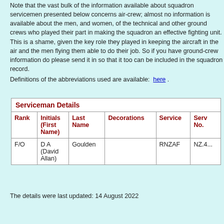Note that the vast bulk of the information available about squadron servicemen presented below concerns air-crew; almost no information is available about the men, and women, of the technical and other ground crews who played their part in making the squadron an effective fighting unit. This is a shame, given the key role they played in keeping the aircraft in the air and the men flying them able to do their job. So if you have ground-crew information do please send it in so that it too can be included in the squadron record.
Definitions of the abbreviations used are available: here .
| Rank | Initials (First Name) | Last Name | Decorations | Service | Serv No. |
| --- | --- | --- | --- | --- | --- |
| F/O | D A (David Allan) | Goulden |  | RNZAF | NZ.4... |
The details were last updated: 14 August 2022